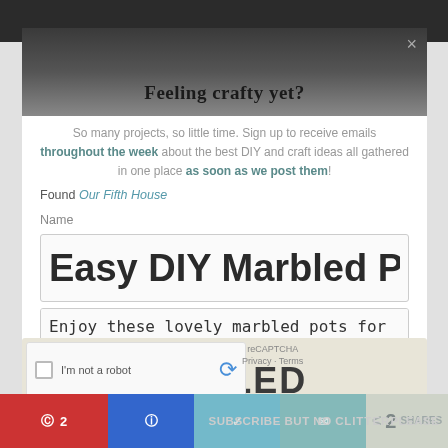[Figure (screenshot): Screenshot of a website/blog page showing a modal subscription popup overlaid on a DIY marbled pots article. The modal has a header image, subscription text, input fields, and a reCAPTCHA widget. Below is a decorative image card with 'Make these DIY MARBLED' text. A social sharing bar is at the bottom.]
Feeling crafty yet?
So many projects, so little time. Sign up to receive emails throughout the week about the best DIY and craft ideas all gathered in one place as soon as we post them!
Found Our Fifth House
Name
Easy DIY Marbled Pots
Enjoy these lovely marbled pots for your plants. They’re easy to make with spray paint!
Make these
DIY MARBLED
SUBSCRIBE BUT NO CLITTER PLEASE
2 SHARES